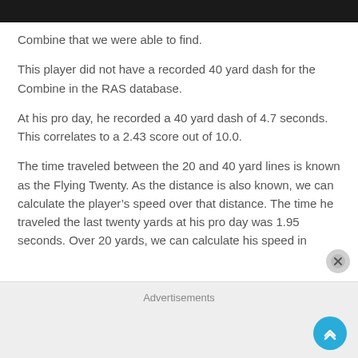Combine that we were able to find.
This player did not have a recorded 40 yard dash for the Combine in the RAS database.
At his pro day, he recorded a 40 yard dash of 4.7 seconds. This correlates to a 2.43 score out of 10.0.
The time traveled between the 20 and 40 yard lines is known as the Flying Twenty. As the distance is also known, we can calculate the player’s speed over that distance. The time he traveled the last twenty yards at his pro day was 1.95 seconds. Over 20 yards, we can calculate his speed in
Advertisements